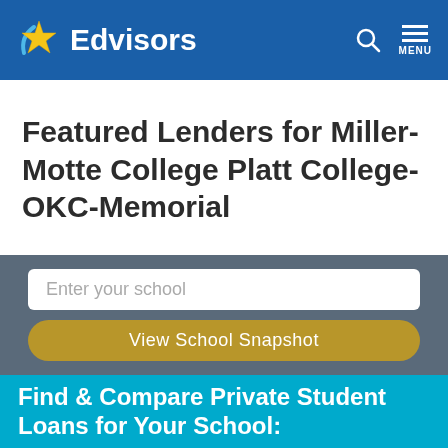Edvisors
Featured Lenders for Miller-Motte College Platt College-OKC-Memorial
Enter your school
View School Snapshot
Find & Compare Private Student Loans for Your School: